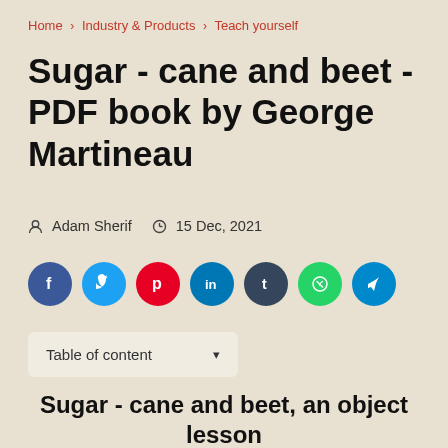Home > Industry & Products > Teach yourself
Sugar - cane and beet - PDF book by George Martineau
Adam Sherif  15 Dec, 2021
[Figure (infographic): Row of 7 social sharing icon circles: Facebook (blue), Twitter (light blue), Pinterest (red), LinkedIn (blue), Tumblr (dark navy), WhatsApp (green), Telegram (blue)]
Table of content ▾
Sugar - cane and beet, an object lesson